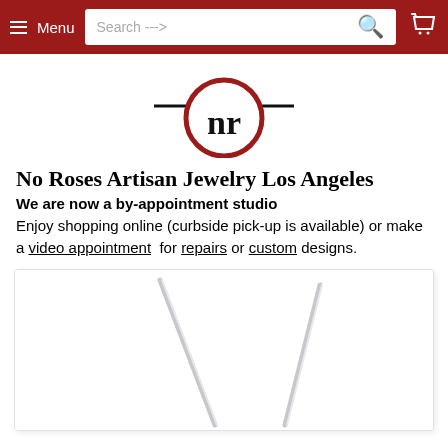Menu  Search --->  [cart]
[Figure (logo): No Roses logo: red circle with 'nr' in black serif font, with horizontal black lines on each side]
No Roses Artisan Jewelry Los Angeles
We are now a by-appointment studio
Enjoy shopping online (curbside pick-up is available) or make a video appointment for repairs or custom designs.
[Figure (photo): Two thin silver wire earrings photographed on white background, angled diagonally]